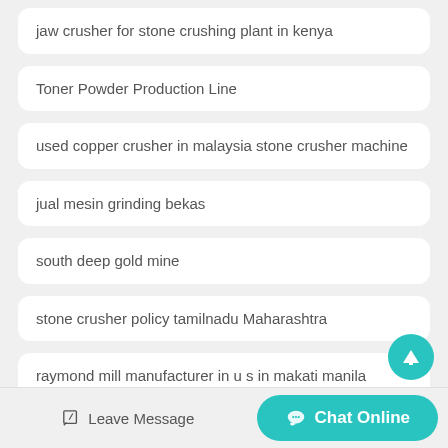jaw crusher for stone crushing plant in kenya
Toner Powder Production Line
used copper crusher in malaysia stone crusher machine
jual mesin grinding bekas
south deep gold mine
stone crusher policy tamilnadu Maharashtra
raymond mill manufacturer in u s in makati manila Assam
Leave Message   Chat Online